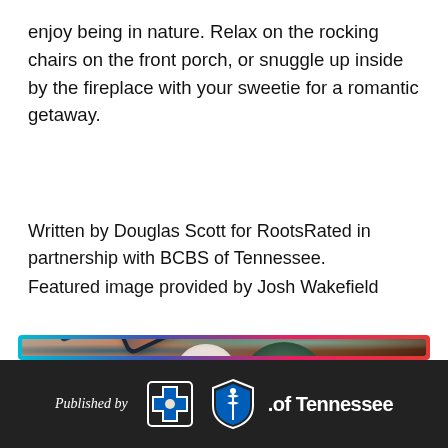enjoy being in nature. Relax on the rocking chairs on the front porch, or snuggle up inside by the fireplace with your sweetie for a romantic getaway.
Written by Douglas Scott for RootsRated in partnership with BCBS of Tennessee.
Featured image provided by Josh Wakefield
[Figure (photo): Photo of a smartphone and blue card on a wooden table with plants in the background, shown inside a gradient-bordered frame (blue to pink/red).]
Published by [BCBS logo] .of Tennessee